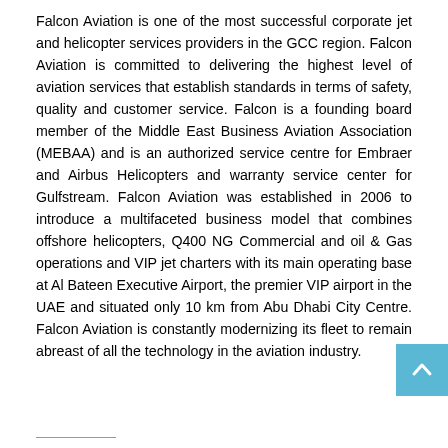Falcon Aviation is one of the most successful corporate jet and helicopter services providers in the GCC region. Falcon Aviation is committed to delivering the highest level of aviation services that establish standards in terms of safety, quality and customer service. Falcon is a founding board member of the Middle East Business Aviation Association (MEBAA) and is an authorized service centre for Embraer and Airbus Helicopters and warranty service center for Gulfstream. Falcon Aviation was established in 2006 to introduce a multifaceted business model that combines offshore helicopters, Q400 NG Commercial and oil & Gas operations and VIP jet charters with its main operating base at Al Bateen Executive Airport, the premier VIP airport in the UAE and situated only 10 km from Abu Dhabi City Centre. Falcon Aviation is constantly modernizing its fleet to remain abreast of all the technology in the aviation industry.